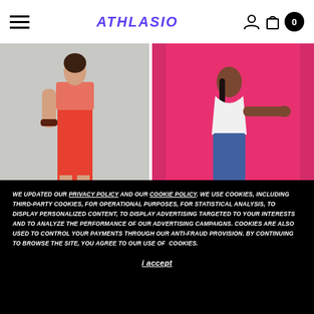Navigation header with hamburger menu, logo 'athlasio', user icon, bag icon, and cart count 0
[Figure (photo): Fashion model wearing orange/coral short-sleeve top and red skirt, posing against light gray background]
[Figure (photo): Fashion model in white tied top and jeans posing against bright pink/magenta backdrop]
WE UPDATED OUR PRIVACY POLICY AND OUR COOKIE POLICY. WE USE COOKIES, INCLUDING THIRD-PARTY COOKIES, FOR OPERATIONAL PURPOSES, FOR STATISTICAL ANALYSIS, TO DISPLAY PERSONALIZED CONTENT, TO DISPLAY ADVERTISING TARGETED TO YOUR INTERESTS AND TO ANALYZE THE PERFORMANCE OF OUR ADVERTISING CAMPAIGNS. COOKIES ARE ALSO USED TO CONTROL YOUR PAYMENTS THROUGH OUR ANTI-FRAUD PROVISION. BY CONTINUING TO BROWSE THE SITE, YOU AGREE TO OUR USE OF COOKIES.
I accept